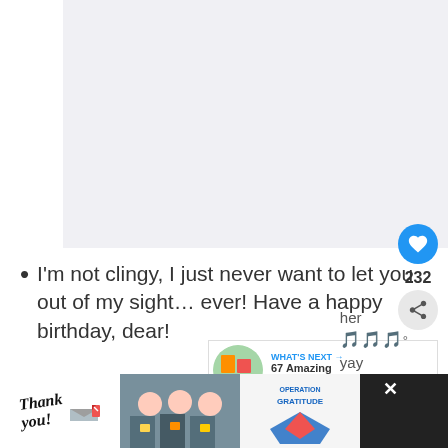[Figure (photo): Large light gray placeholder image area at top of page]
I'm not clingy, I just never want to let you out of my sight… ever! Have a happy birthday, dear!
[Figure (screenshot): UI overlay showing heart/like button with count 232, share button, and 'WHAT'S NEXT' card showing '67 Amazing Birthday...']
[Figure (photo): Ad banner at bottom: Thank you Operation Gratitude ad with nurses holding cards]